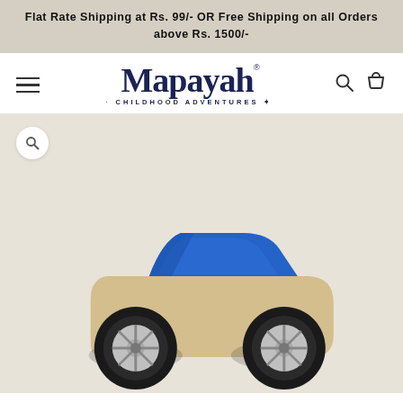Flat Rate Shipping at Rs. 99/- OR Free Shipping on all Orders above Rs. 1500/-
[Figure (logo): Mapayah Childhood Adventures logo with hamburger menu, search icon, and cart icon in navigation bar]
[Figure (photo): A wooden toy car with a blue roof/top piece and black rubber wheels with silver rims, photographed on a light beige background]